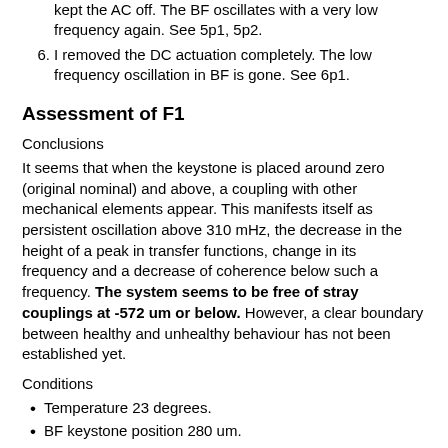kept the AC off. The BF oscillates with a very low frequency again. See 5p1, 5p2.
I removed the DC actuation completely. The low frequency oscillation in BF is gone. See 6p1.
Assessment of F1
Conclusions
It seems that when the keystone is placed around zero (original nominal) and above, a coupling with other mechanical elements appear. This manifests itself as persistent oscillation above 310 mHz, the decrease in the height of a peak in transfer functions, change in its frequency and a decrease of coherence below such a frequency. The system seems to be free of stray couplings at -572 um or below. However, a clear boundary between healthy and unhealthy behaviour has not been established yet.
Conditions
Temperature 23 degrees.
BF keystone position 280 um.
Desription of measurements.